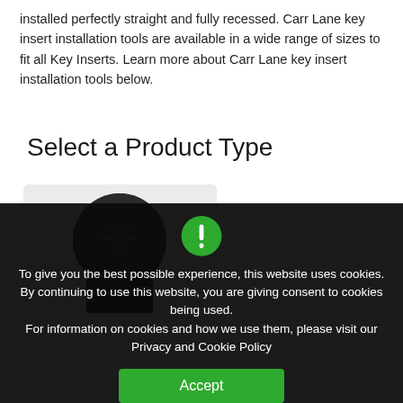installed perfectly straight and fully recessed. Carr Lane key insert installation tools are available in a wide range of sizes to fit all Key Inserts. Learn more about Carr Lane key insert installation tools below.
Select a Product Type
[Figure (photo): Photo of a Carr Lane key insert installation tool, a cylindrical black metal tool with engraved text 'HCAR 3/C LHCAR 3/C M10' on the top face, displayed against a light gray background.]
To give you the best possible experience, this website uses cookies. By continuing to use this website, you are giving consent to cookies being used.
For information on cookies and how we use them, please visit our Privacy and Cookie Policy
Accept